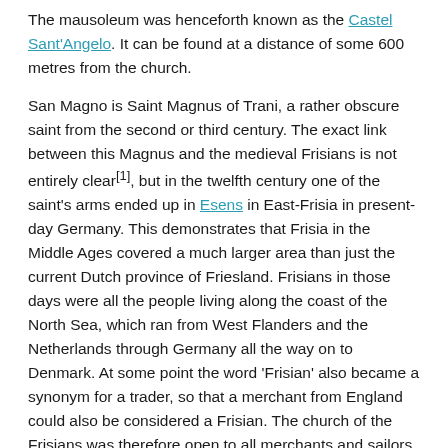The mausoleum was henceforth known as the Castel Sant'Angelo. It can be found at a distance of some 600 metres from the church.
San Magno is Saint Magnus of Trani, a rather obscure saint from the second or third century. The exact link between this Magnus and the medieval Frisians is not entirely clear[1], but in the twelfth century one of the saint's arms ended up in Esens in East-Frisia in present-day Germany. This demonstrates that Frisia in the Middle Ages covered a much larger area than just the current Dutch province of Friesland. Frisians in those days were all the people living along the coast of the North Sea, which ran from West Flanders and the Netherlands through Germany all the way on to Denmark. At some point the word 'Frisian' also became a synonym for a trader, so that a merchant from England could also be considered a Frisian. The church of the Frisians was therefore open to all merchants and sailors from the north.[2].
[Figure (photo): Aerial panoramic photograph of Rome, showing the cityscape with the Tiber river, buildings, and Castel Sant'Angelo area visible.]